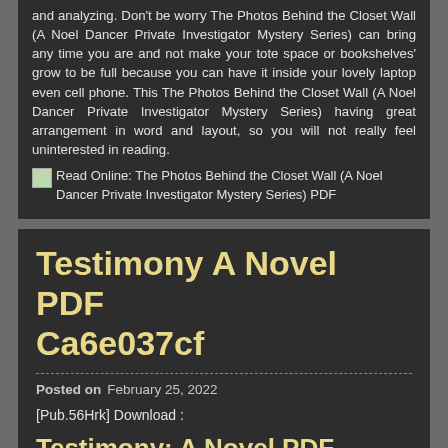and analyzing. Don't be worry The Photos Behind the Closet Wall (A Noel Dancer Private Investigator Mystery Series) can bring any time you are and not make your tote space or bookshelves' grow to be full because you can have it inside your lovely laptop even cell phone. This The Photos Behind the Closet Wall (A Noel Dancer Private Investigator Mystery Series) having great arrangement in word and layout, so you will not really feel uninterested in reading.
[Figure (other): Broken image placeholder followed by link text: Read Online: The Photos Behind the Closet Wall (A Noel Dancer Private Investigator Mystery Series) PDF]
Testimony A Novel PDF Ca6e037cf
Posted on  February 25, 2022
[Pub.56Hrk] Download :
Testimony: A Novel PDF